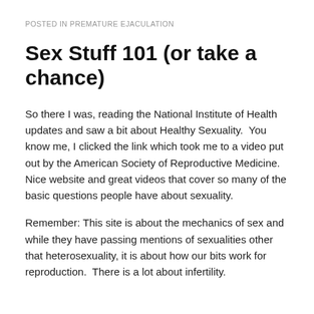POSTED IN PREMATURE EJACULATION
Sex Stuff 101 (or take a chance)
So there I was, reading the National Institute of Health updates and saw a bit about Healthy Sexuality.  You know me, I clicked the link which took me to a video put out by the American Society of Reproductive Medicine.  Nice website and great videos that cover so many of the basic questions people have about sexuality.
Remember: This site is about the mechanics of sex and while they have passing mentions of sexualities other that heterosexuality, it is about how our bits work for reproduction.  There is a lot about infertility.